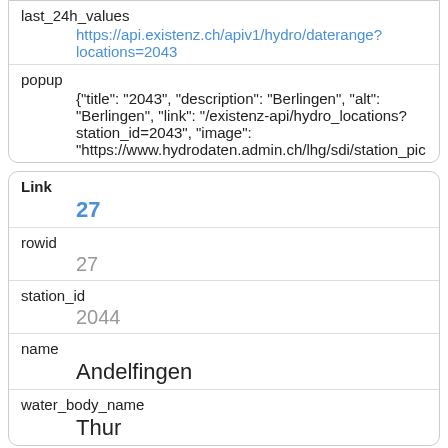| last_24h_values | https://api.existenz.ch/apiv1/hydro/daterange?locations=2043 |
| popup | {"title": "2043", "description": "Berlingen", "alt": "Berlingen", "link": "/existenz-api/hydro_locations?station_id=2043", "image": "https://www.hydrodaten.admin.ch/lhg/sdi/station_pic |
| Link | 27 |
| rowid | 27 |
| station_id | 2044 |
| name | Andelfingen |
| water_body_name | Thur |